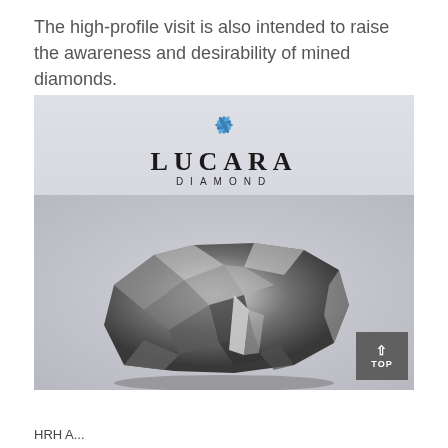The high-profile visit is also intended to raise the awareness and desirability of mined diamonds.
[Figure (photo): A large rough diamond (uncut stone) with silvery-grey metallic lustre displayed in front of the Lucara Diamond company logo. The logo features a blue snowflake-like graphic above the text 'LUCARA DIAMOND' in bold uppercase letters.]
HRH A...